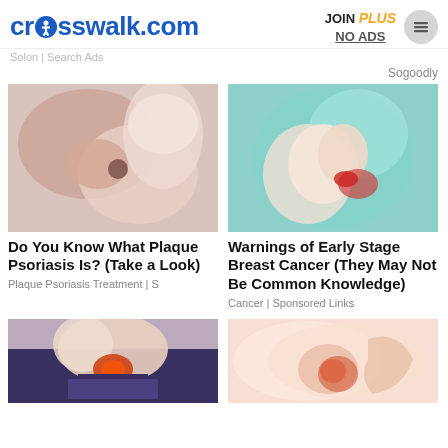crosswalk.com
JOIN PLUS NO ADS
Solon | Search Ads
Sogoodly
[Figure (photo): Close-up of a person's skin with a mole, and a hand touching it]
Do You Know What Plaque Psoriasis Is? (Take a Look)
Plaque Psoriasis Treatment | S
[Figure (photo): Woman in teal top touching her chest/neck area with red fingernails]
Warnings of Early Stage Breast Cancer (They May Not Be Common Knowledge)
Cancer | Sponsored Links
[Figure (photo): Person showing hip/lower back area with glowing red pain indication]
[Figure (photo): Medical illustration showing shoulder joint anatomy with reddish area]